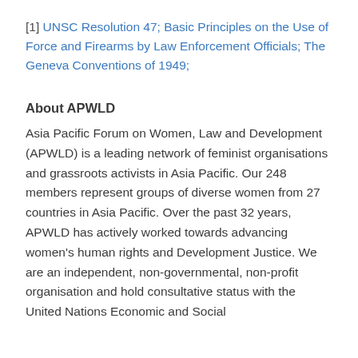[1] UNSC Resolution 47; Basic Principles on the Use of Force and Firearms by Law Enforcement Officials; The Geneva Conventions of 1949;
About APWLD
Asia Pacific Forum on Women, Law and Development (APWLD) is a leading network of feminist organisations and grassroots activists in Asia Pacific. Our 248 members represent groups of diverse women from 27 countries in Asia Pacific. Over the past 32 years, APWLD has actively worked towards advancing women's human rights and Development Justice. We are an independent, non-governmental, non-profit organisation and hold consultative status with the United Nations Economic and Social...